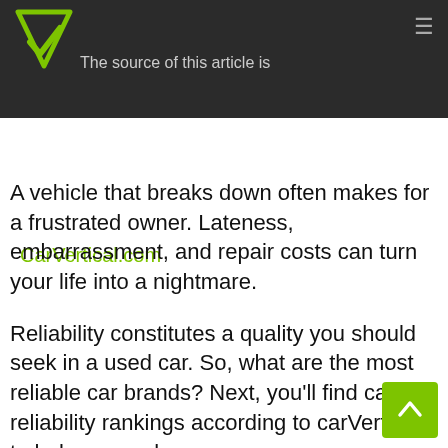The source of this article is CarVertical.com
A vehicle that breaks down often makes for a frustrated owner. Lateness, embarrassment, and repair costs can turn your life into a nightmare.
Reliability constitutes a quality you should seek in a used car. So, what are the most reliable car brands? Next, you'll find car reliability rankings according to carVertical, to help you make an